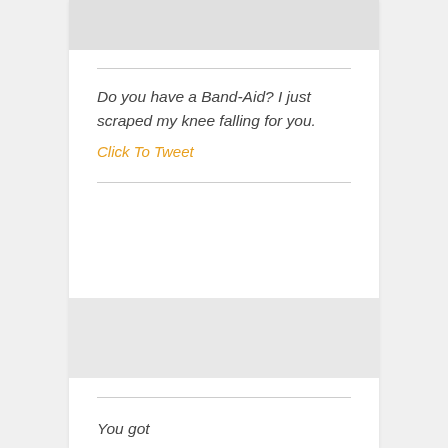Do you have a Band-Aid? I just scraped my knee falling for you.
Click To Tweet
You got